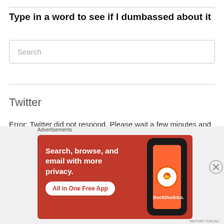Type in a word to see if I dumbassed about it
Search
Twitter
Error: Twitter did not respond. Please wait a few minutes and refresh this page.
Facebook
Advertisements
[Figure (screenshot): DuckDuckGo advertisement banner: orange/red background with phone mockup showing DuckDuckGo logo. Text: 'Search, browse, and email with more privacy. All in One Free App'. DuckDuckGo logo on phone screen.]